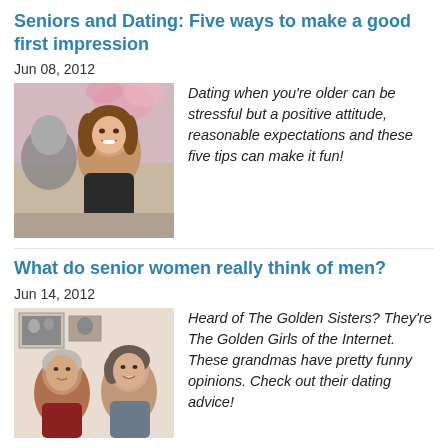Seniors and Dating: Five ways to make a good first impression
Jun 08, 2012
[Figure (photo): A smiling woman with long brown hair in a social setting with a man in the foreground, pink flowers in background]
Dating when you're older can be stressful but a positive attitude, reasonable expectations and these five tips can make it fun!
What do senior women really think of men?
Jun 14, 2012
[Figure (photo): Two elderly women talking to each other, with framed photos visible on a wall in the background]
Heard of The Golden Sisters? They're The Golden Girls of the Internet. These grandmas have pretty funny opinions. Check out their dating advice!